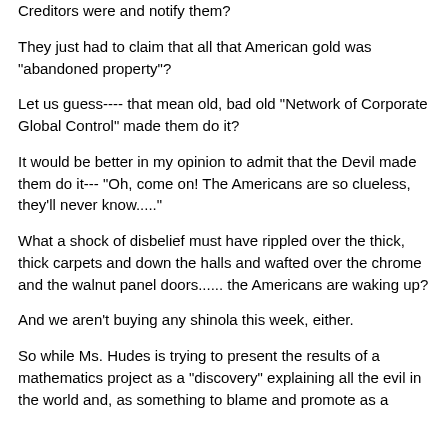Creditors were and notify them?
They just had to claim that all that American gold was "abandoned property"?
Let us guess---- that mean old, bad old "Network of Corporate Global Control" made them do it?
It would be better in my opinion to admit that the Devil made them do it--- "Oh, come on! The Americans are so clueless, they'll never know....."
What a shock of disbelief must have rippled over the thick, thick carpets and down the halls and wafted over the chrome and the walnut panel doors...... the Americans are waking up?
And we aren't buying any shinola this week, either.
So while Ms. Hudes is trying to present the results of a mathematics project as a "discovery" explaining all the evil in the world and, as something to blame and promote as a